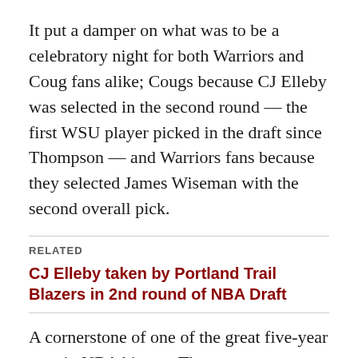It put a damper on what was to be a celebratory night for both Warriors and Coug fans alike; Cougs because CJ Elleby was selected in the second round — the first WSU player picked in the draft since Thompson — and Warriors fans because they selected James Wiseman with the second overall pick.
RELATED
CJ Elleby taken by Portland Trail Blazers in 2nd round of NBA Draft
A cornerstone of one of the great five-year runs in NBA history, Thompson — a three-time champion — sat out all of last season after tearing a knee ligament in his left leg in the 2019 NBA Finals loss to the Toronto Raptors. It appeared he was on track to return for this